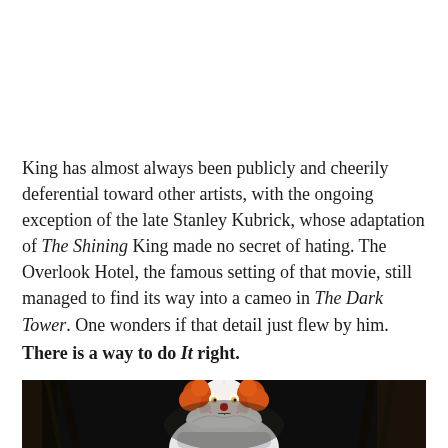King has almost always been publicly and cheerily deferential toward other artists, with the ongoing exception of the late Stanley Kubrick, whose adaptation of The Shining King made no secret of hating. The Overlook Hotel, the famous setting of that movie, still managed to find its way into a cameo in The Dark Tower. One wonders if that detail just flew by him.
There is a way to do It right.
[Figure (photo): A photo of Pennywise the clown character (IT) in a white costume with red hair, grinning, against a dark background with trees.]